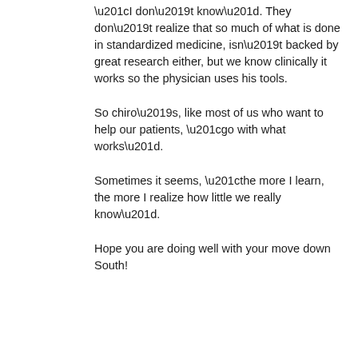“I don’t know”. They don’t realize that so much of what is done in standardized medicine, isn’t backed by great research either, but we know clinically it works so the physician uses his tools.
So chiro’s, like most of us who want to help our patients, “go with what works”.
Sometimes it seems, “the more I learn, the more I realize how little we really know”.
Hope you are doing well with your move down South!